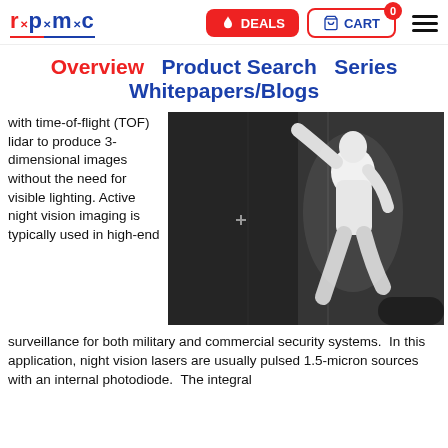r·p·m·c | DEALS | CART (0)
Overview   Product Search   Series   Whitepapers/Blogs
with time-of-flight (TOF) lidar to produce 3-dimensional images without the need for visible lighting. Active night vision imaging is typically used in high-end
[Figure (photo): Thermal/night-vision image of a person silhouetted in white against a dark background, appearing to press against or climb a wall or surface.]
surveillance for both military and commercial security systems.  In this application, night vision lasers are usually pulsed 1.5-micron sources with an internal photodiode.  The integral